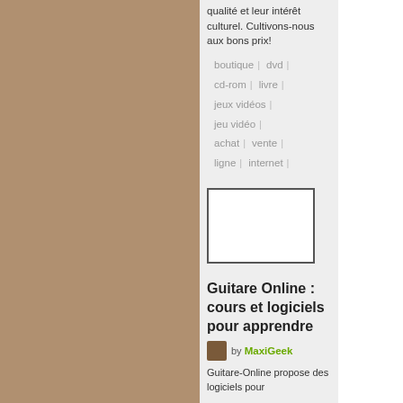qualité et leur intérêt culturel. Cultivons-nous aux bons prix!
boutique | dvd |
cd-rom | livre |
jeux vidéos |
jeu vidéo |
achat | vente |
ligne | internet |
[Figure (other): Advertisement box, empty white rectangle with dark border]
Guitare Online : cours et logiciels pour apprendre
by MaxiGeek
Guitare-Online propose des logiciels pour